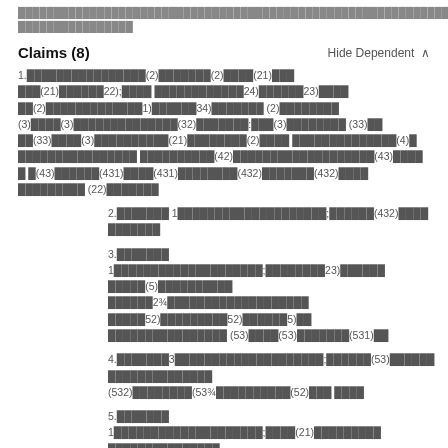████████████████████████████████████████████████████████████████████████████████████████████████████████████████████████████████████
Claims (8)      Hide Dependent ^
1.████████████████(2)███████(2)████(21)███ ███(21)██████22);████ ████████████24)██████23)████ ██(2)█████████████1)██████34)███████ (2)████████ (3)████(3)██████████████(32)███████:███(3)████████ (33)██ ██(33)████(3)██████████(21)████████(2)████ ██████████████(4)█ ████████████████ ██████████(42)███████████████████(43)████ █ █(43)██████(431)████(431)████████(432)███████(432)████ █████████ (22)███████
2.███████ 1████████████████████;██████(432)████ ███████
3.███████ 1████████████████████;████████23)██████ █████(5)██████████ ██████2¾███████████████████ █████52)█████████52)██████5)██ ████████████████ (53)████(53)███████(531)██
4.███████3████████████████████;██████(53)██████ ██████████████ (532)████████(53¾██████████(52)███ ████
5.███████ 1████████████████████;████(21)█████████ ███████████████